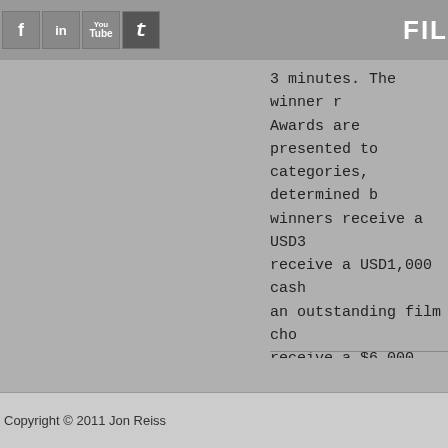[Figure (other): Social media icons: Facebook (f), LinkedIn (in), YouTube, Twitter (t) in grey boxes]
FIL
3 minutes. The winner r... Awards are presented to categories, determined b... winners receive a USD3... receive a USD1,000 cash an outstanding film cho... receive a $6,000 cash aw...
Posted in Distribution | Tagged "Shadow... Babelgum Online Film Festival, Best Vi... Brotherston and Jock Mooney, Canada, Pierre Bekolo Obama, Jury Awards, Ne... Patron Sally Potter, Spain, Stoli Emergi... Leave a comment
Copyright © 2011 Jon Reiss